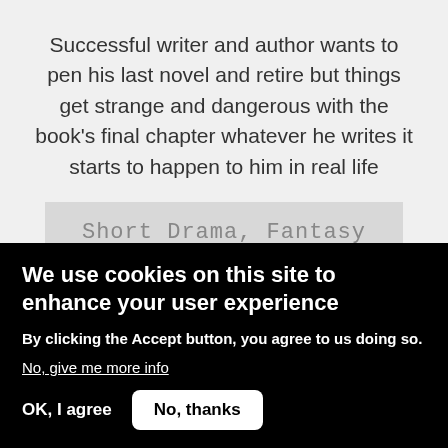Successful writer and author wants to pen his last novel and retire but things get strange and dangerous with the book's final chapter whatever he writes it starts to happen to him in real life
Short Drama, Fantasy  For sale  27pp
❤ 2 readers love this script
We use cookies on this site to enhance your user experience
By clicking the Accept button, you agree to us doing so.
No, give me more info
OK, I agree
No, thanks